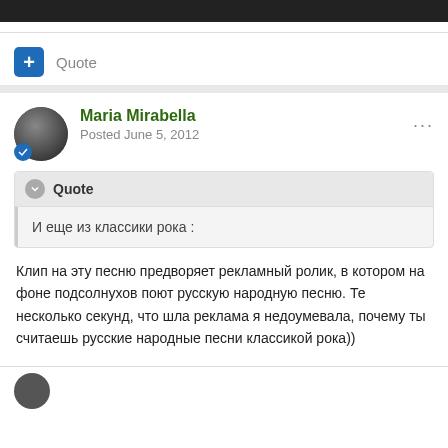[Figure (screenshot): Top black navigation bar of a website]
Quote
Maria Mirabella
Posted June 5, 2012
Quote
И еще из классики рока :
Клип на эту песню предворяет рекламный ролик, в котором на фоне подсолнухов поют русскую народную песню. Те несколько секунд, что шла реклама я недоумевала, почему ты считаешь русские народные песни классикой рока))